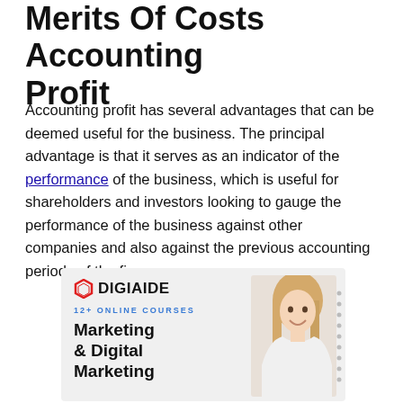Merits Of Costs Accounting Profit
Accounting profit has several advantages that can be deemed useful for the business. The principal advantage is that it serves as an indicator of the performance of the business, which is useful for shareholders and investors looking to gauge the performance of the business against other companies and also against the previous accounting periods of the firm.
[Figure (infographic): DIGIAIDE advertisement banner with logo, '12+ ONLINE COURSES' text, 'Marketing & Digital Marketing' headline, and a photo of a smiling blonde woman.]